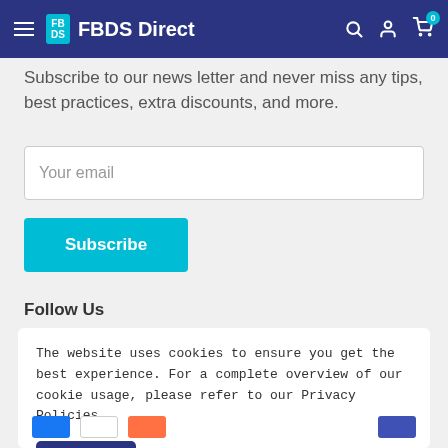FBDS Direct
Subscribe to our news letter and never miss any tips, best practices, extra discounts, and more.
Your email
Subscribe
Follow Us
The website uses cookies to ensure you get the best experience. For a complete overview of our cookie usage, please refer to our Privacy Policies.
Got it